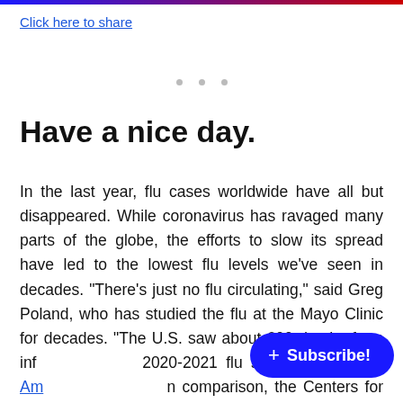Click here to share
Have a nice day.
In the last year, flu cases worldwide have all but disappeared. While coronavirus has ravaged many parts of the globe, the efforts to slow its spread have led to the lowest flu levels we've seen in decades. “There’s just no flu circulating,” said Greg Poland, who has studied the flu at the Mayo Clinic for decades. “The U.S. saw about 600 deaths from inf[luenza in the] 2020-2021 flu season,” Scientific Am[erican reported. I]n comparison, the Centers for Disease Control and